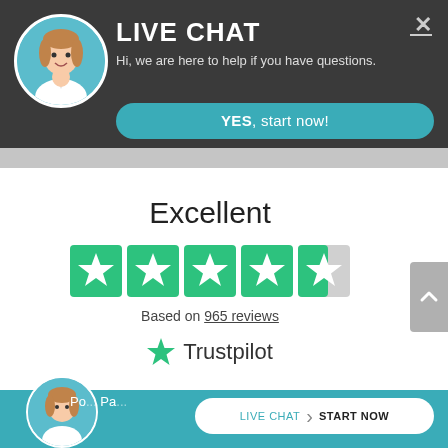[Figure (screenshot): Live chat widget header with dark gray background, circular avatar of a woman, LIVE CHAT title, subtitle text, close button, and teal YES start now button]
LIVE CHAT
Hi, we are here to help if you have questions.
YES, start now!
Excellent
[Figure (infographic): Five Trustpilot green stars, the last one partially filled (4.5 stars rating)]
Based on 965 reviews
Trustpilot
[Figure (screenshot): Teal footer bar with avatar, partial text 'Po... Pa...' and a LIVE CHAT | START NOW white pill button]